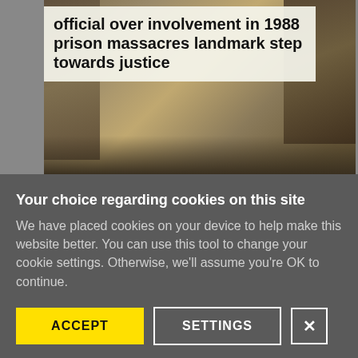[Figure (photo): News article image showing black and white photographs of faces (adults and children) with a partially visible headline overlay. Top of headline cut off, visible text reads: 'official over involvement in 1988 prison massacres landmark step towards justice']
official over involvement in 1988 prison massacres landmark step towards justice
[Figure (photo): Abstract orange and red glowing image, appears to be a flame or artistic photograph with warm tones.]
Your choice regarding cookies on this site
We have placed cookies on your device to help make this website better. You can use this tool to change your cookie settings. Otherwise, we'll assume you're OK to continue.